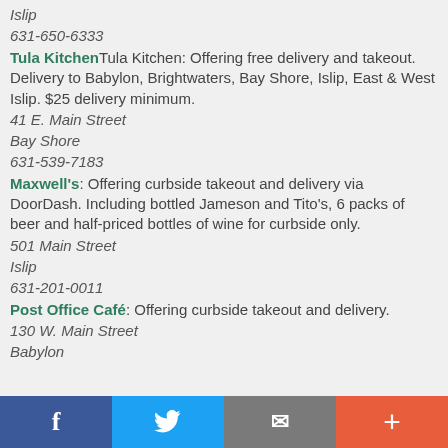Islip
631-650-6333
Tula Kitchen: Offering free delivery and takeout. Delivery to Babylon, Brightwaters, Bay Shore, Islip, East & West Islip. $25 delivery minimum.
41 E. Main Street
Bay Shore
631-539-7183
Maxwell's: Offering curbside takeout and delivery via DoorDash. Including bottled Jameson and Tito's, 6 packs of beer and half-priced bottles of wine for curbside only.
501 Main Street
Islip
631-201-0011
Post Office Café: Offering curbside takeout and delivery.
130 W. Main Street
Babylon
f  Twitter  mail  +